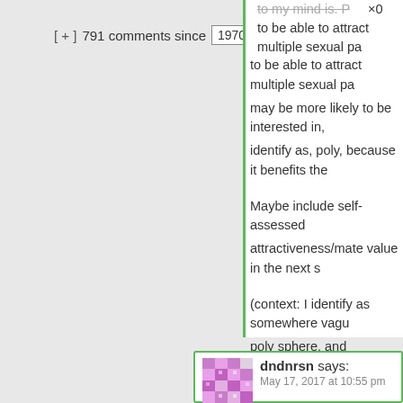[ + ]  791 comments since  1970-01-01 00:0
to be able to attract multiple sexual pa may be more likely to be interested in, identify as, poly, because it benefits the
Maybe include self-assessed attractiveness/mate value in the next s
(context: I identify as somewhere vagu poly sphere, and empirically I can attra than one woman. How many more is questionable, and even thinking about “mate value” feels distasteful even thou acknowledge that there is something re concept)
Hide 1
dndnrsn says:
May 17, 2017 at 10:55 pm